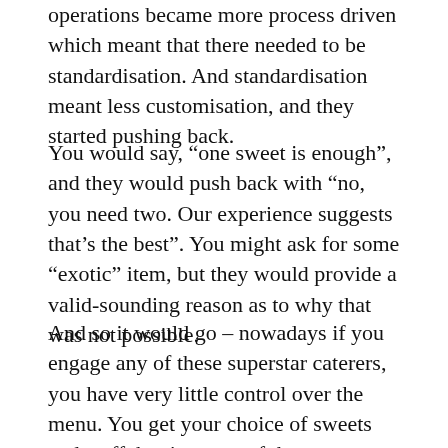operations became more process driven which meant that there needed to be standardisation. And standardisation meant less customisation, and they started pushing back.
You would say, “one sweet is enough”, and they would push back with “no, you need two. Our experience suggests that’s the best”. You might ask for some “exotic” item, but they would provide a valid-sounding reason as to why that was not possible.
And so it would go – nowadays if you engage any of these superstar caterers, you have very little control over the menu. You get your choice of sweets and stuff, but in terms of the